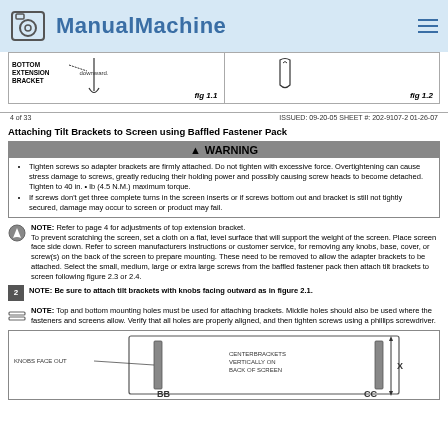ManualMachine
[Figure (engineering-diagram): Diagram showing bottom extension bracket pointing downward, with fig 1.1 label]
[Figure (engineering-diagram): Diagram showing bracket assembly, with fig 1.2 label]
4 of 33    ISSUED: 09-20-05 SHEET #: 202-9107-2 01-26-07
Attaching Tilt Brackets to Screen using Baffled Fastener Pack
WARNING: Tighten screws so adapter brackets are firmly attached. Do not tighten with excessive force. Overtightening can cause stress damage to screws, greatly reducing their holding power and possibly causing screw heads to become detached. Tighten to 40 in. lb (4.5 N.M.) maximum torque. If screws don't get three complete turns in the screen inserts or if screws bottom out and bracket is still not tightly secured, damage may occur to screen or product may fail.
NOTE: Refer to page 4 for adjustments of top extension bracket. To prevent scratching the screen, set a cloth on a flat, level surface that will support the weight of the screen. Place screen face side down. Refer to screen manufacturers instructions or customer service, for removing any knobs, base, cover, or screw(s) on the back of the screen to prepare mounting. These need to be removed to allow the adapter brackets to be attached. Select the small, medium, large or extra large screws from the baffled fastener pack then attach tilt brackets to screen following figure 2.3 or 2.4.
NOTE: Be sure to attach tilt brackets with knobs facing outward as in figure 2.1.
NOTE: Top and bottom mounting holes must be used for attaching brackets. Middle holes should also be used where the fasteners and screens allow. Verify that all holes are properly aligned, and then tighten screws using a phillips screwdriver.
[Figure (engineering-diagram): Diagram showing knobs face out, center brackets vertically on back of screen, with labels BB, CC, and X dimension marker]